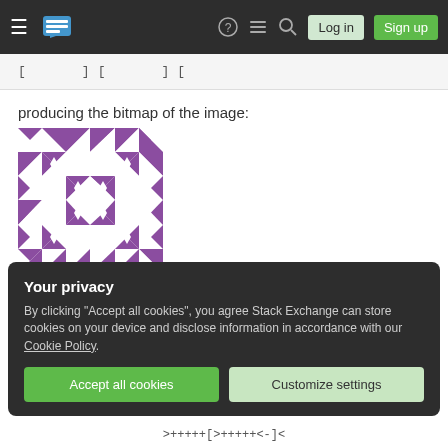Stack Exchange navigation bar with hamburger menu, logo, help, chat, search icons, Log in and Sign up buttons
[ ] [ ] [
producing the bitmap of the image:
[Figure (illustration): Purple and white geometric quilt-pattern bitmap image, square with star/diamond repeating motif]
A version with some comments (might not be very useful as they were mostly for my own benefit):
Your privacy
By clicking "Accept all cookies", you agree Stack Exchange can store cookies on your device and disclose information in accordance with our Cookie Policy.
Accept all cookies  Customize settings
>+++++[>+++++<-]<